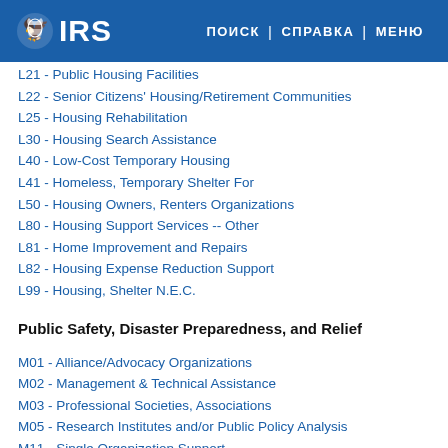IRS | ПОИСК | СПРАВКА | МЕНЮ
L21 - Public Housing Facilities
L22 - Senior Citizens' Housing/Retirement Communities
L25 - Housing Rehabilitation
L30 - Housing Search Assistance
L40 - Low-Cost Temporary Housing
L41 - Homeless, Temporary Shelter For
L50 - Housing Owners, Renters Organizations
L80 - Housing Support Services -- Other
L81 - Home Improvement and Repairs
L82 - Housing Expense Reduction Support
L99 - Housing, Shelter N.E.C.
Public Safety, Disaster Preparedness, and Relief
M01 - Alliance/Advocacy Organizations
M02 - Management & Technical Assistance
M03 - Professional Societies, Associations
M05 - Research Institutes and/or Public Policy Analysis
M11 - Single Organization Support